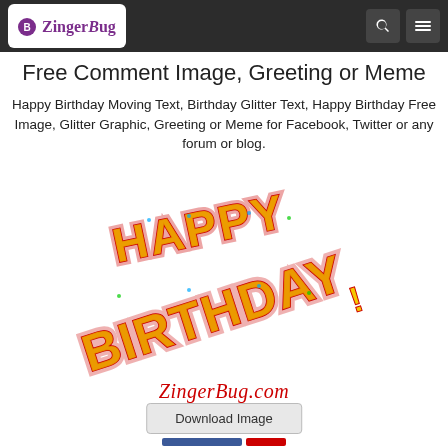ZingerBug
Free Comment Image, Greeting or Meme
Happy Birthday Moving Text, Birthday Glitter Text, Happy Birthday Free Image, Glitter Graphic, Greeting or Meme for Facebook, Twitter or any forum or blog.
[Figure (illustration): Animated glitter text reading HAPPY BIRTHDAY in red and yellow colors with decorative patterns, with ZingerBug.com watermark below]
Download Image